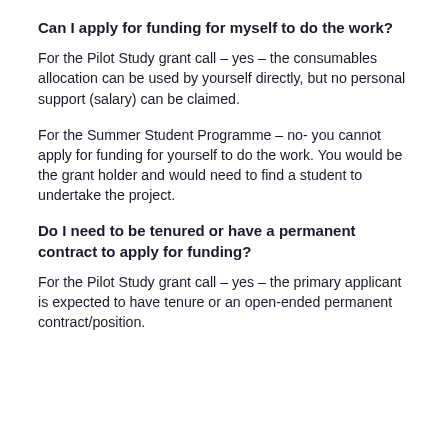Can I apply for funding for myself to do the work?
For the Pilot Study grant call – yes – the consumables allocation can be used by yourself directly, but no personal support (salary) can be claimed.
For the Summer Student Programme – no- you cannot apply for funding for yourself to do the work. You would be the grant holder and would need to find a student to undertake the project.
Do I need to be tenured or have a permanent contract to apply for funding?
For the Pilot Study grant call – yes – the primary applicant is expected to have tenure or an open-ended permanent contract/position.